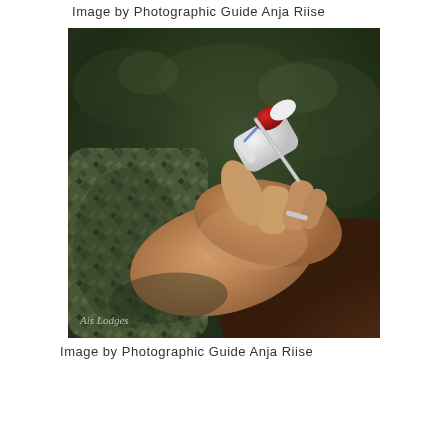Image by Photographic Guide Anja Riise
[Figure (photo): A person wearing camouflage clothing holding a medical vial with a red cap and a syringe/needle in their hands, outdoors with green foliage in the background. A watermark reading 'Ais Lodges' appears in the lower left corner of the photo.]
Image by Photographic Guide Anja Riise